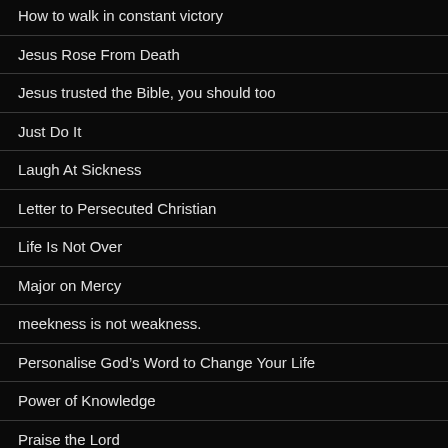How to walk in constant victory
Jesus Rose From Death
Jesus trusted the Bible, you should too
Just Do It
Laugh At Sickness
Letter to Persecuted Christian
Life Is Not Over
Major on Mercy
meekness is not weakness.
Personalise God's Word to Change Your Life
Power of Knowledge
Praise the Lord
Praying Psalm 91